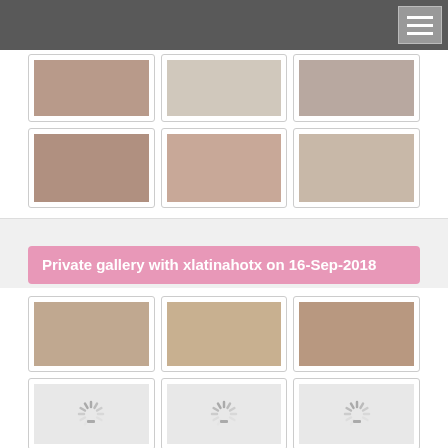[Figure (photo): Grid of thumbnail photos - top gallery row 1 with 3 images]
[Figure (photo): Grid of thumbnail photos - top gallery row 2 with 3 images]
Private gallery with xlatinahotx on 16-Sep-2018
[Figure (photo): Grid of thumbnail photos - second gallery row 1 with 3 images]
[Figure (photo): Grid of thumbnail photos - second gallery row 2 with 3 loading spinners]